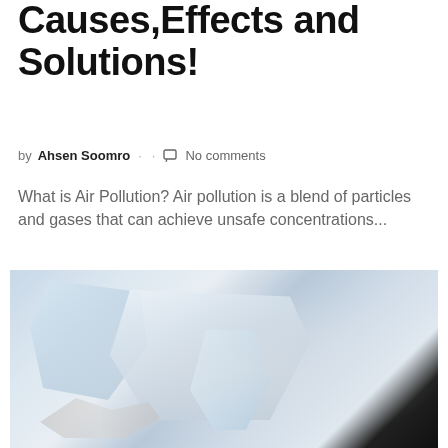Causes,Effects and Solutions!
by Ahsen Soomro · No comments
What is Air Pollution? Air pollution is a blend of particles and gases that can achieve unsafe concentrations...
[Figure (photo): Close-up photo of transparent crystal or mineral fragments with light reflecting off the surfaces, appearing to show fine dust or smoke around the pieces, dark background on the right side]